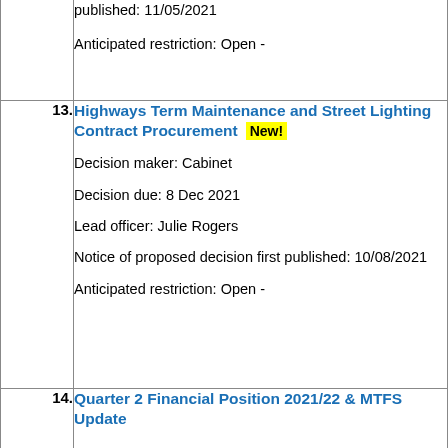| # | Details |
| --- | --- |
|  | published: 11/05/2021

Anticipated restriction: Open  - |
| 13. | Highways Term Maintenance and Street Lighting Contract Procurement [New!]

Decision maker: Cabinet

Decision due: 8 Dec 2021

Lead officer: Julie Rogers

Notice of proposed decision first published: 10/08/2021

Anticipated restriction: Open  - |
| 14. | Quarter 2 Financial Position 2021/22 & MTFS Update |